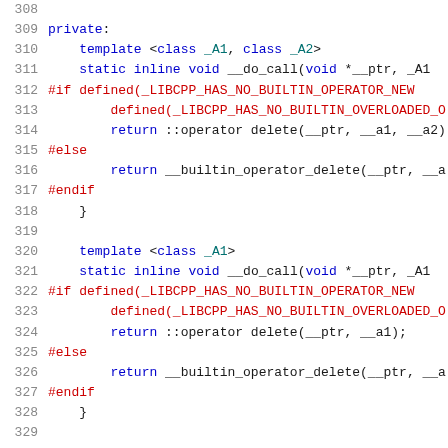Source code listing, lines 308–329, C++ preprocessor and template code